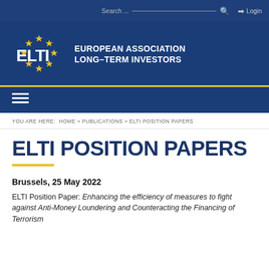Search ... Login
[Figure (logo): ELTI logo with EU stars circle and text EUROPEAN ASSOCIATION LONG-TERM INVESTORS on blue background]
YOU ARE HERE: HOME » PUBLICATIONS » ELTI POSITION PAPERS
ELTI POSITION PAPERS
Brussels, 25 May 2022
ELTI Position Paper: Enhancing the efficiency of measures to fight against Anti-Money Loundering and Counteracting the Financing of Terrorism ...